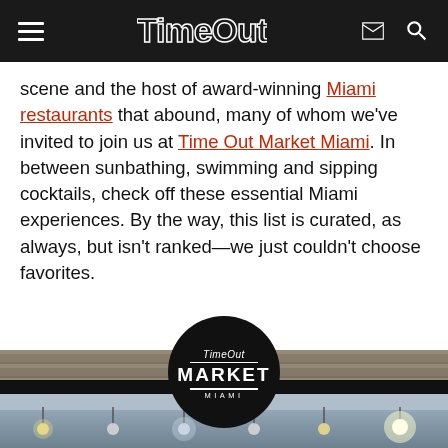Time Out
scene and the host of award-winning Miami restaurants that abound, many of whom we've invited to join us at Time Out Market Miami. In between sunbathing, swimming and sipping cocktails, check off these essential Miami experiences. By the way, this list is curated, as always, but isn't ranked—we just couldn't choose favorites.
[Figure (photo): Time Out Market Miami circular logo on a black circle overlaid on a black horizontal bar, with an interior restaurant ceiling photo showing pendant lights below]